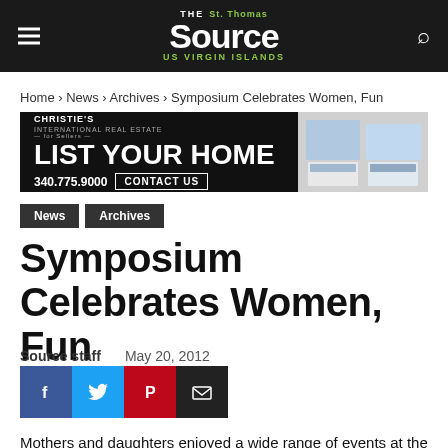The St. Thomas Source — US Virgin Islands
Home › News › Archives › Symposium Celebrates Women, Fun
[Figure (other): Christie's International Real Estate advertisement: LIST YOUR HOME, 340.775.9000, CONTACT US]
News
Archives
Symposium Celebrates Women, Fun
Source staff   May 20, 2012
[Figure (other): Social sharing buttons: Facebook, Twitter, Pinterest, Email]
Mothers and daughters enjoyed a wide range of events at the